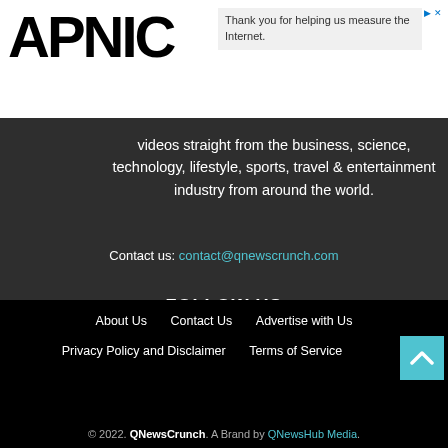[Figure (logo): APNIC logo in large bold black text]
Thank you for helping us measure the Internet.
videos straight from the business, science, technology, lifestyle, sports, travel & entertainment industry from around the world.
Contact us: contact@qnewscrunch.com
FOLLOW US
[Figure (illustration): Four social media icon buttons: Facebook (f), PayPal (P), Pinterest (p), Twitter (bird)]
About Us   Contact Us   Advertise with Us   Privacy Policy and Disclaimer   Terms of Service   © 2022. QNewsCrunch. A Brand by QNewsHub Media.